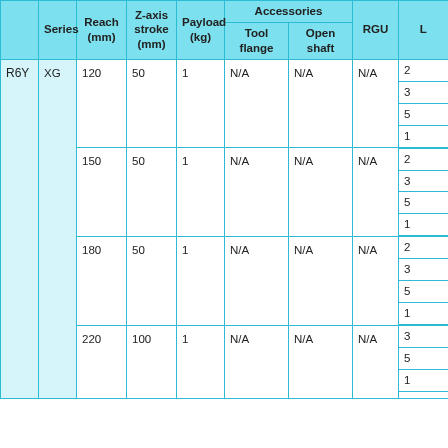|  | Series | Reach (mm) | Z-axis stroke (mm) | Payload (kg) | Tool flange | Open shaft | RGU | L |
| --- | --- | --- | --- | --- | --- | --- | --- | --- |
| R6Y | XG | 120 | 50 | 1 | N/A | N/A | N/A | 2 |
|  |  |  |  |  |  |  |  | 3 |
|  |  |  |  |  |  |  |  | 5 |
|  |  |  |  |  |  |  |  | 1 |
|  |  | 150 | 50 | 1 | N/A | N/A | N/A | 2 |
|  |  |  |  |  |  |  |  | 3 |
|  |  |  |  |  |  |  |  | 5 |
|  |  |  |  |  |  |  |  | 1 |
|  |  | 180 | 50 | 1 | N/A | N/A | N/A | 2 |
|  |  |  |  |  |  |  |  | 3 |
|  |  |  |  |  |  |  |  | 5 |
|  |  |  |  |  |  |  |  | 1 |
|  |  | 220 | 100 | 1 | N/A | N/A | N/A | 3 |
|  |  |  |  |  |  |  |  | 5 |
|  |  |  |  |  |  |  |  | 1 |